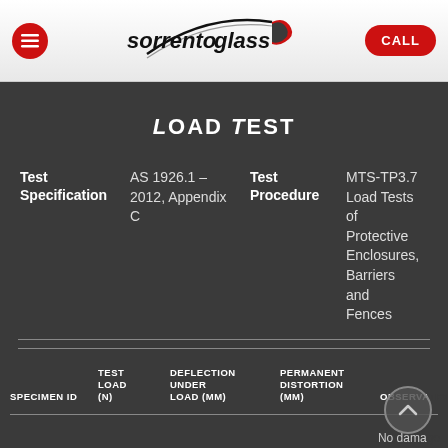[Figure (logo): Sorrento Glass logo with red swoosh and italic text]
Load Test
Test Specification: AS 1926.1 – 2012, Appendix C | Test Procedure: MTS-TP3.7 Load Tests of Protective Enclosures, Barriers and Fences
| SPECIMEN ID | TEST LOAD (N) | DEFLECTION UNDER LOAD (MM) | PERMANENT DISTORTION (MM) | OBSERVATIONS |
| --- | --- | --- | --- | --- |
|  |  |  |  | No damage |